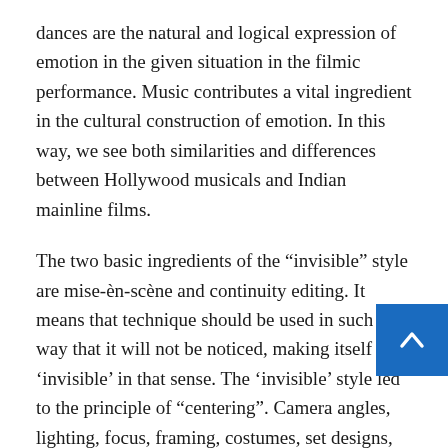dances are the natural and logical expression of emotion in the given situation in the filmic performance. Music contributes a vital ingredient in the cultural construction of emotion. In this way, we see both similarities and differences between Hollywood musicals and Indian mainline films.
The two basic ingredients of the “invisible” style are mise-èn-scène and continuity editing. It means that technique should be used in such a way that it will not be noticed, making itself ‘invisible’ in that sense. The ‘invisible’ style led to the principle of “centering”. Camera angles, lighting, focus, framing, costumes, set designs, all worked unitedly to keep the primary object of the narrative at the center of the frame. The discontinuity effected by editing, on the other hand, were concealed by practices aimed to keep intact spatial and temporal continuity from shot to shot.